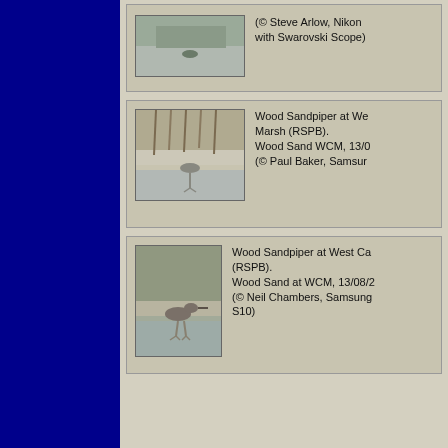[Figure (photo): Bird photo - shorebird in water/marsh habitat (top card, partially visible)]
(© Steve Arlow, Nikon with Swarovski Scope)
[Figure (photo): Wood Sandpiper at West Carlton Marsh (RSPB) - bird wading in shallow water]
Wood Sandpiper at We... Marsh (RSPB). Wood Sand WCM, 13/0... (© Paul Baker, Samsun...
[Figure (photo): Wood Sandpiper at West Carlton Marsh (RSPB) - bird standing in muddy water]
Wood Sandpiper at West Ca... (RSPB). Wood Sand at WCM, 13/08/2... (© Neil Chambers, Samsung S10)